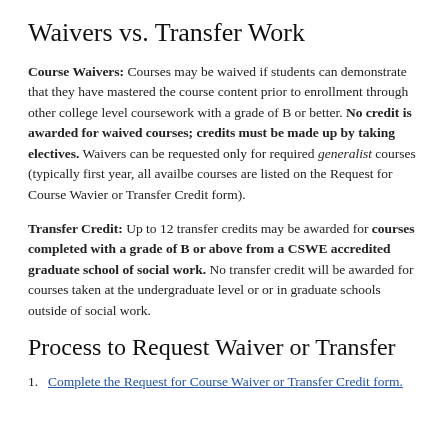Waivers vs. Transfer Work
Course Waivers: Courses may be waived if students can demonstrate that they have mastered the course content prior to enrollment through other college level coursework with a grade of B or better. No credit is awarded for waived courses; credits must be made up by taking electives. Waivers can be requested only for required generalist courses (typically first year, all availbe courses are listed on the Request for Course Wavier or Transfer Credit form).
Transfer Credit: Up to 12 transfer credits may be awarded for courses completed with a grade of B or above from a CSWE accredited graduate school of social work. No transfer credit will be awarded for courses taken at the undergraduate level or or in graduate schools outside of social work.
Process to Request Waiver or Transfer
1. Complete the Request for Course Waiver or Transfer Credit form.